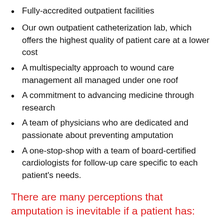Fully-accredited outpatient facilities
Our own outpatient catheterization lab, which offers the highest quality of patient care at a lower cost
A multispecialty approach to wound care management all managed under one roof
A commitment to advancing medicine through research
A team of physicians who are dedicated and passionate about preventing amputation
A one-stop-shop with a team of board-certified cardiologists for follow-up care specific to each patient's needs.
There are many perceptions that amputation is inevitable if a patient has:
bad kidneys
diabetes
a non-healing wound will inevitably face amputation